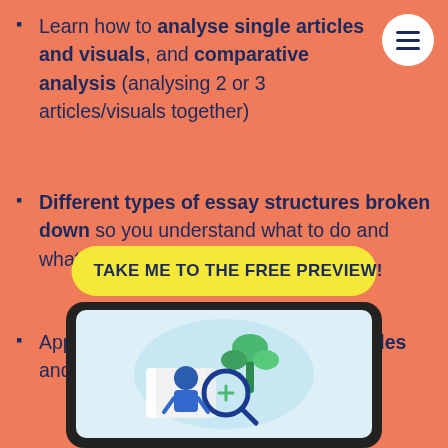Learn how to analyse single articles and visuals, and comparative analysis (analysing 2 or 3 articles/visuals together)
Different types of essay structures broken down so you understand what to do and what not to do with confidence
Apply your new skills with sample articles and visuals
TAKE ME TO THE FREE PREVIEW!
[Figure (illustration): A tablet device showing an illustration of a student studying with books and a plant, in a light blue/educational theme]